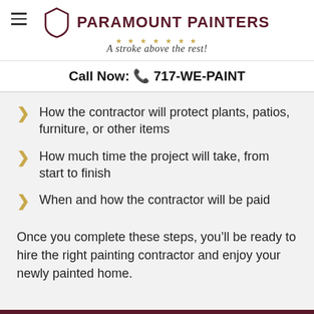PARAMOUNT PAINTERS — A stroke above the rest!
Call Now: 📞 717-WE-PAINT
How the contractor will protect plants, patios, furniture, or other items
How much time the project will take, from start to finish
When and how the contractor will be paid
Once you complete these steps, you'll be ready to hire the right painting contractor and enjoy your newly painted home.